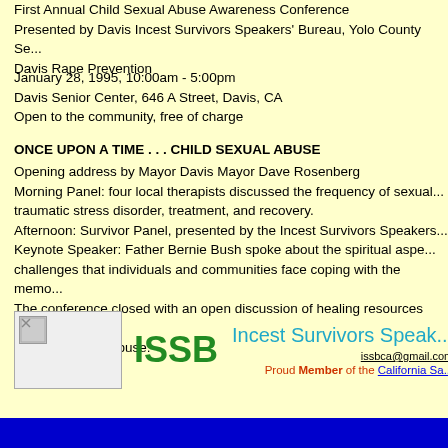First Annual Child Sexual Abuse Awareness Conference
Presented by Davis Incest Survivors Speakers' Bureau, Yolo County Se...
Davis Rape Prevention
January 28, 1995,  10:00am - 5:00pm
Davis Senior Center, 646 A Street, Davis, CA
Open to the community, free of charge
ONCE UPON A TIME . . . CHILD SEXUAL ABUSE
Opening address by Mayor Davis Mayor Dave Rosenberg
Morning Panel:  four local therapists discussed the frequency of sexual... traumatic stress disorder, treatment, and recovery.
Afternoon:  Survivor Panel, presented by the Incest Survivors Speakers...
Keynote Speaker:   Father Bernie Bush spoke about the spiritual aspe... challenges that individuals and communities face coping with the memo...
The conference closed with an open discussion of healing resources in... endured sexual abuse.
[Figure (logo): ISSB logo image placeholder with green ISSB text and teal Incest Survivors Speakers Bureau name]
issbca@gmail.com
Proud Member of the California Sa...
Blue footer bar